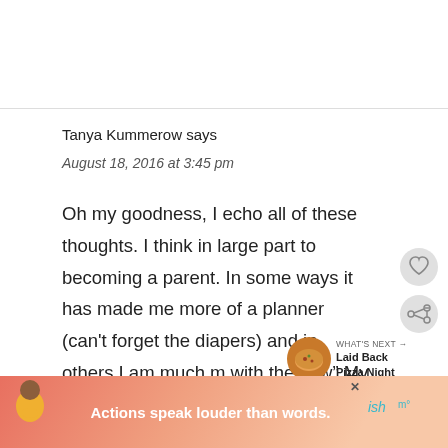Tanya Kummerow says
August 18, 2016 at 3:45 pm
Oh my goodness, I echo all of these thoughts. I think in large part to becoming a parent. In some ways it has made me more of a planner (can't forget the diapers) and in others I am much m with the flow” My priorities have definitely
[Figure (screenshot): Heart (like) button icon — circular grey button with heart outline]
[Figure (screenshot): Share button icon — circular grey button with share/plus icon]
[Figure (screenshot): What's Next widget showing a thumbnail image of pizza and text 'WHAT'S NEXT → Laid Back Pizza Night']
[Figure (screenshot): Advertisement banner at bottom with text 'Actions speak louder than words.' showing a person in yellow shirt and a logo on the right]